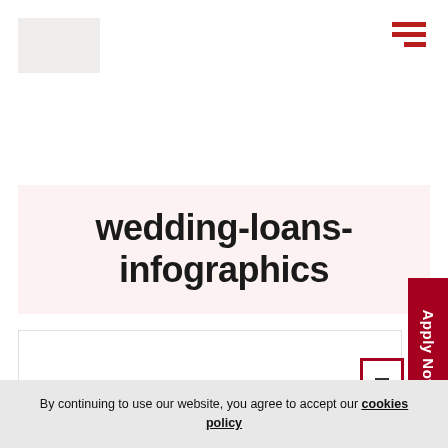[Figure (logo): Website logo placeholder, light gray rectangle]
[Figure (other): Hamburger menu icon with three red horizontal bars, right-aligned]
wedding-loans-infographics
[Figure (other): Apply Now button, vertical red tab on right side]
[Figure (other): Small white rectangle icon with dark border near bottom right]
By continuing to use our website, you agree to accept our cookies policy